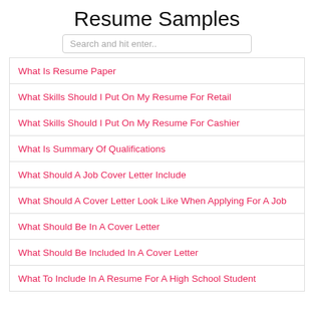Resume Samples
Search and hit enter..
What Is Resume Paper
What Skills Should I Put On My Resume For Retail
What Skills Should I Put On My Resume For Cashier
What Is Summary Of Qualifications
What Should A Job Cover Letter Include
What Should A Cover Letter Look Like When Applying For A Job
What Should Be In A Cover Letter
What Should Be Included In A Cover Letter
What To Include In A Resume For A High School Student